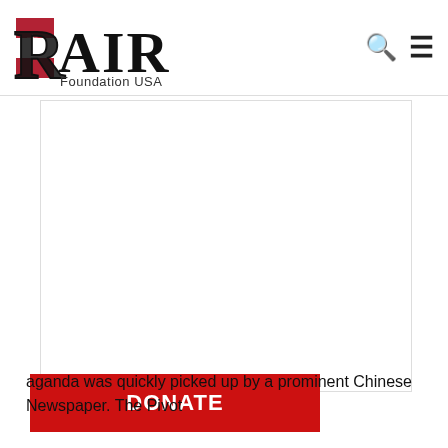RAIR Foundation USA
[Figure (other): Large white rectangular content/image area below the navigation bar]
[Figure (other): Red DONATE button overlay on lower left]
aganda was quickly picked up by a prominent Chinese Newspaper. The Pivot